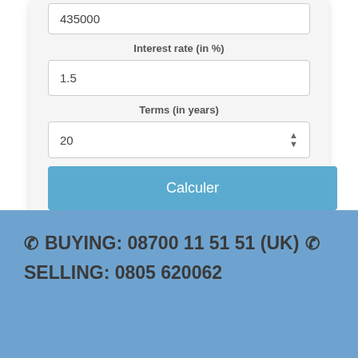435000
Interest rate (in %)
1.5
Terms (in years)
20
Calculer
Monthly Payment : 12 867 €** (excluding insurance)
📞 BUYING: 08700 11 51 51 (UK) 📞
SELLING: 0805 620062